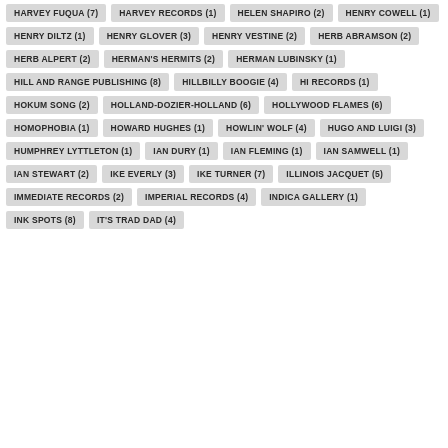HARVEY FUQUA (7)
HARVEY RECORDS (1)
HELEN SHAPIRO (2)
HENRY COWELL (1)
HENRY DILTZ (1)
HENRY GLOVER (3)
HENRY VESTINE (2)
HERB ABRAMSON (2)
HERB ALPERT (2)
HERMAN'S HERMITS (2)
HERMAN LUBINSKY (1)
HILL AND RANGE PUBLISHING (8)
HILLBILLY BOOGIE (4)
HI RECORDS (1)
HOKUM SONG (2)
HOLLAND-DOZIER-HOLLAND (6)
HOLLYWOOD FLAMES (6)
HOMOPHOBIA (1)
HOWARD HUGHES (1)
HOWLIN' WOLF (4)
HUGO AND LUIGI (3)
HUMPHREY LYTTLETON (1)
IAN DURY (1)
IAN FLEMING (1)
IAN SAMWELL (1)
IAN STEWART (2)
IKE EVERLY (3)
IKE TURNER (7)
ILLINOIS JACQUET (5)
IMMEDIATE RECORDS (2)
IMPERIAL RECORDS (4)
INDICA GALLERY (1)
INK SPOTS (8)
IT'S TRAD DAD (4)